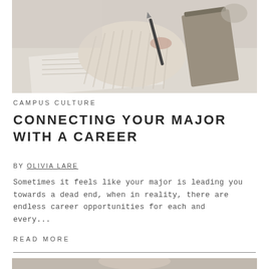[Figure (photo): A person's hand holding a pen, writing on paper on a desk, wearing a cozy knit sweater sleeve.]
CAMPUS CULTURE
CONNECTING YOUR MAJOR WITH A CAREER
BY OLIVIA LARE
Sometimes it feels like your major is leading you towards a dead end, when in reality, there are endless career opportunities for each and every...
READ MORE
[Figure (photo): Partial view of a person at the bottom of the page, cropped.]